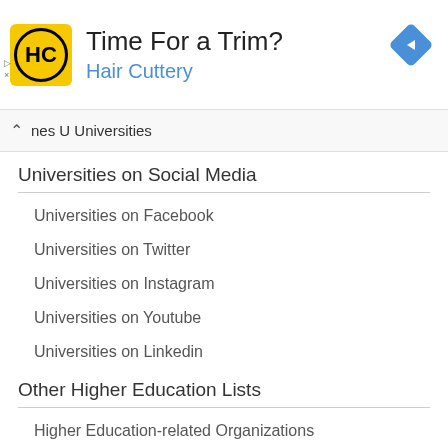[Figure (infographic): Hair Cuttery advertisement banner with yellow logo, 'Time For a Trim?' title, 'Hair Cuttery' subtitle in blue, and a blue navigation diamond icon]
nes U Universities
Universities on Social Media
Universities on Facebook
Universities on Twitter
Universities on Instagram
Universities on Youtube
Universities on Linkedin
Other Higher Education Lists
Higher Education-related Organizations